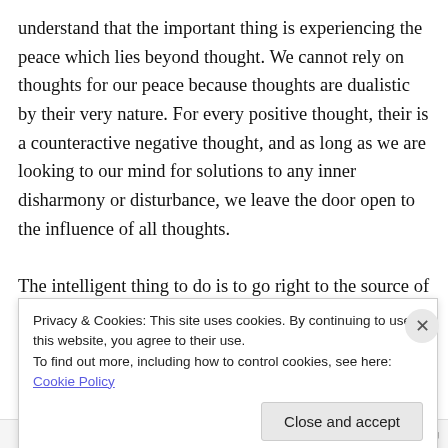understand that the important thing is experiencing the peace which lies beyond thought. We cannot rely on thoughts for our peace because thoughts are dualistic by their very nature. For every positive thought, their is a counteractive negative thought, and as long as we are looking to our mind for solutions to any inner disharmony or disturbance, we leave the door open to the influence of all thoughts.

The intelligent thing to do is to go right to the source of our peace, the source of our feelings of harmony, happiness
Privacy & Cookies: This site uses cookies. By continuing to use this website, you agree to their use.
To find out more, including how to control cookies, see here: Cookie Policy
Close and accept
nidokidos.org